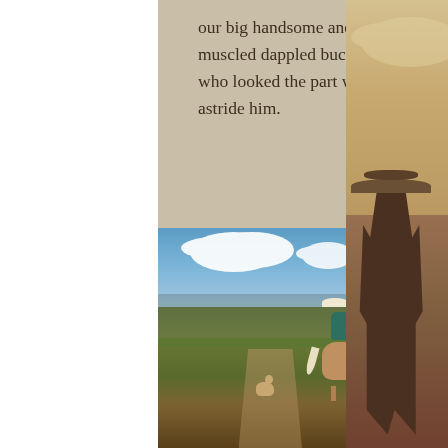our big handsome and muscled dappled buckskin who looked the part with Wil astride him.
[Figure (photo): A cowboy on horseback viewed from behind, riding across a high desert landscape with rolling hills, sagebrush, and a blue sky with clouds. A dog walks nearby on a dirt trail.]
[Figure (photo): A sepia-toned partial photograph on the right side of the page showing what appears to be a rider on horseback viewed from behind, wearing a wide-brimmed hat, with a dramatic sky background.]